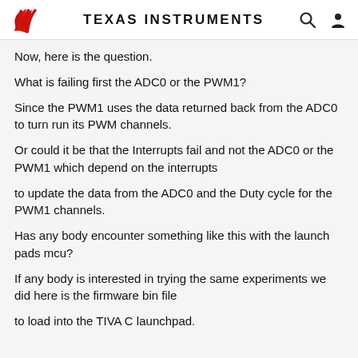Texas Instruments
Now, here is the question.
What is failing first the ADC0 or the PWM1?
Since the PWM1 uses the data returned back from the ADC0 to turn run its PWM channels.
Or could it be that the Interrupts fail and not the ADC0 or the PWM1 which depend on the interrupts
to update the data from the ADC0 and the Duty cycle for the PWM1 channels.
Has any body encounter something like this with the launch pads mcu?
If any body is interested in trying the same experiments we did here is the firmware bin file
to load into the TIVA C launchpad.